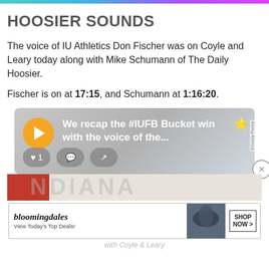HOOSIER SOUNDS
The voice of IU Athletics Don Fischer was on Coyle and Leary today along with Mike Schumann of The Daily Hoosier.
Fischer is on at 17:15, and Schumann at 1:16:20.
[Figure (screenshot): Audio player widget with orange play button, showing text 'We recap the #IUFB Bucket win with the voice of the...' with a star icon, and social interaction buttons (heart with count 1, comment, share). Privacy Policy label on right side.]
[Figure (screenshot): Bloomingdale's advertisement: 'View Today's Top Deals!' with SHOP NOW button and image of woman in hat]
with Coyle & Leary